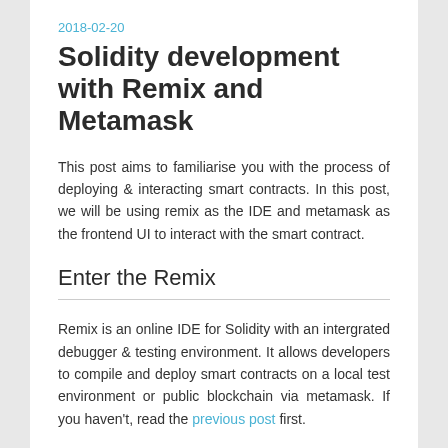2018-02-20
Solidity development with Remix and Metamask
This post aims to familiarise you with the process of deploying & interacting smart contracts. In this post, we will be using remix as the IDE and metamask as the frontend UI to interact with the smart contract.
Enter the Remix
Remix is an online IDE for Solidity with an intergrated debugger & testing environment. It allows developers to compile and deploy smart contracts on a local test environment or public blockchain via metamask. If you haven't, read the previous post first.
Access the latest version of remix
Some things to note when using remix